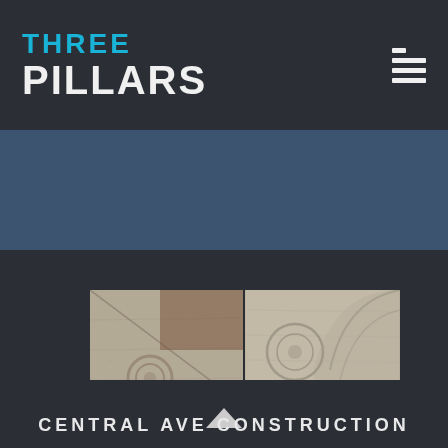[Figure (logo): Three Pillars company logo with cyan 'THREE' text above white bold 'PILLARS' text, with hamburger menu icon on the right]
[Figure (photo): Two side-by-side photographs of concrete construction work, showing decorative concrete surfaces with circular medallion details]
CENTRAL AVE CONSTRUCTION